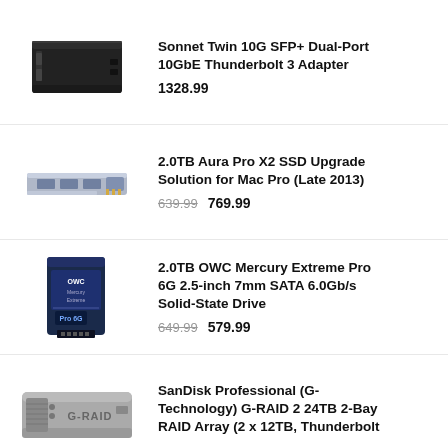[Figure (photo): Black rectangular network adapter box - Sonnet Twin 10G SFP+]
Sonnet Twin 10G SFP+ Dual-Port 10GbE Thunderbolt 3 Adapter
1328.99
[Figure (photo): SSD module - 2.0TB Aura Pro X2]
2.0TB Aura Pro X2 SSD Upgrade Solution for Mac Pro (Late 2013)
639.99  769.99
[Figure (photo): 2.0TB OWC Mercury Extreme Pro 6G SSD drive]
2.0TB OWC Mercury Extreme Pro 6G 2.5-inch 7mm SATA 6.0Gb/s Solid-State Drive
649.99  579.99
[Figure (photo): SanDisk Professional G-RAID 2 24TB 2-Bay RAID Array enclosure]
SanDisk Professional (G-Technology) G-RAID 2 24TB 2-Bay RAID Array (2 x 12TB, Thunderbolt